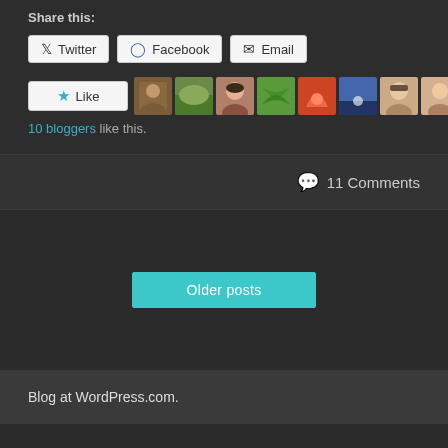Share this:
Twitter
Facebook
Email
[Figure (other): Like button with star icon followed by 10 blogger avatars in a horizontal strip]
10 bloggers like this.
11 Comments
Older posts
Blog at WordPress.com.